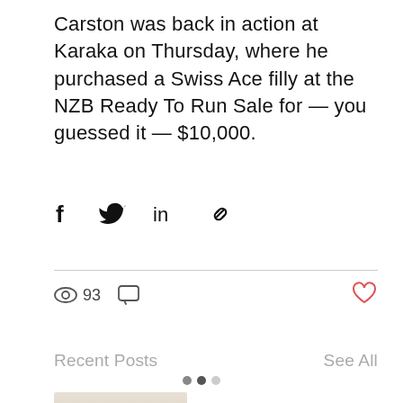Carston was back in action at Karaka on Thursday, where he purchased a Swiss Ace filly at the NZB Ready To Run Sale for — you guessed it — $10,000.
[Figure (other): Social sharing icons: Facebook (f), Twitter bird, LinkedIn (in), link/chain icon]
93 views, comment icon, heart/like icon
Recent Posts
See All
[Figure (photo): Thumbnail image showing a light-colored scene, partially visible at bottom of page]